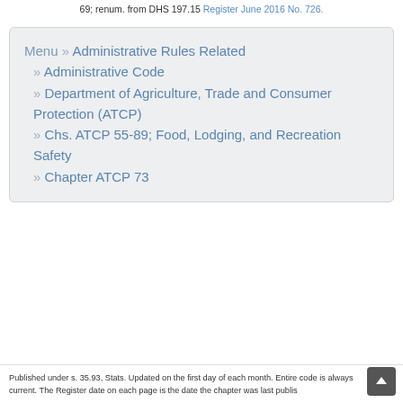69; renum. from DHS 197.15 Register June 2016 No. 726.
Menu » Administrative Rules Related » Administrative Code » Department of Agriculture, Trade and Consumer Protection (ATCP) » Chs. ATCP 55-89; Food, Lodging, and Recreation Safety » Chapter ATCP 73
Published under s. 35.93, Stats. Updated on the first day of each month. Entire code is always current. The Register date on each page is the date the chapter was last publis[hed]